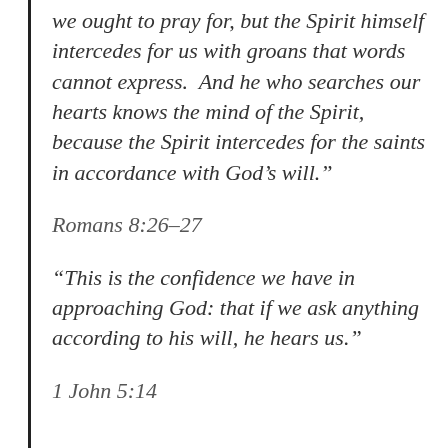we ought to pray for, but the Spirit himself intercedes for us with groans that words cannot express.  And he who searches our hearts knows the mind of the Spirit, because the Spirit intercedes for the saints in accordance with God’s will.”
Romans 8:26–27
“This is the confidence we have in approaching God: that if we ask anything according to his will, he hears us.”
1 John 5:14